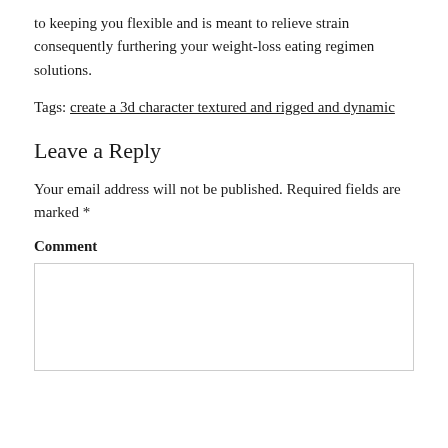to keeping you flexible and is meant to relieve strain consequently furthering your weight-loss eating regimen solutions.
Tags: create a 3d character textured and rigged and dynamic
Leave a Reply
Your email address will not be published. Required fields are marked *
Comment
[Figure (other): Empty comment text area input box]